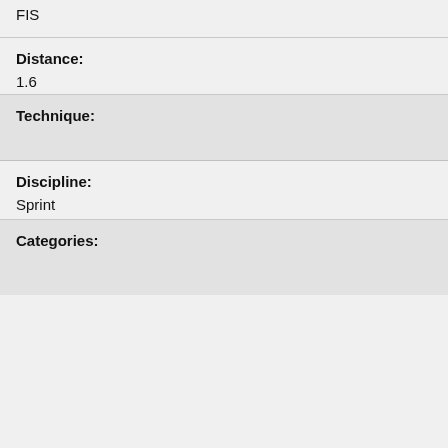FIS
Distance:
1.6
Technique:
Discipline:
Sprint
Categories: